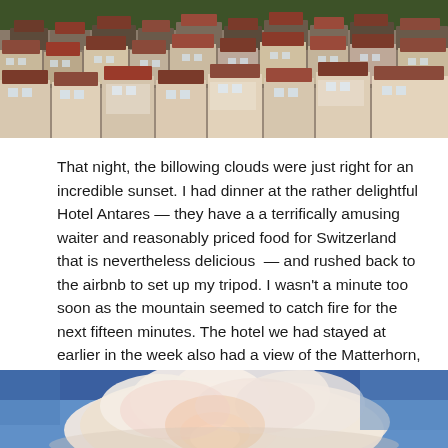[Figure (photo): Aerial view of a dense alpine village with chalet-style buildings and snow-dusted rooftops surrounded by green trees, likely Zermatt, Switzerland.]
That night, the billowing clouds were just right for an incredible sunset. I had dinner at the rather delightful Hotel Antares — they have a a terrifically amusing waiter and reasonably priced food for Switzerland that is nevertheless delicious  — and rushed back to the airbnb to set up my tripod. I wasn't a minute too soon as the mountain seemed to catch fire for the next fifteen minutes. The hotel we had stayed at earlier in the week also had a view of the Matterhorn, but the sky and the sun didn't play as nicely the entire week for sunrise or sunset.
[Figure (photo): Close-up of billowing white and pink clouds against a deep blue sky, with a soft glow suggesting a sunset or sunrise.]